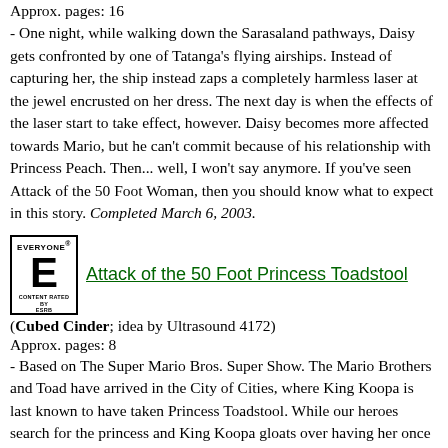Approx. pages: 16
- One night, while walking down the Sarasaland pathways, Daisy gets confronted by one of Tatanga's flying airships. Instead of capturing her, the ship instead zaps a completely harmless laser at the jewel encrusted on her dress. The next day is when the effects of the laser start to take effect, however. Daisy becomes more affected towards Mario, but he can't commit because of his relationship with Princess Peach. Then... well, I won't say anymore. If you've seen Attack of the 50 Foot Woman, then you should know what to expect in this story. Completed March 6, 2003.
[Figure (logo): ESRB Everyone rating logo — black and white box with large E, 'EVERYONE' at top, 'CONTENT RATED BY ESRB' at bottom]
Attack of the 50 Foot Princess Toadstool
(Cubed Cinder; idea by Ultrasound 4172)
Approx. pages: 8
- Based on The Super Mario Bros. Super Show. The Mario Brothers and Toad have arrived in the City of Cities, where King Koopa is last known to have taken Princess Toadstool. While our heroes search for the princess and King Koopa gloats over having her once again in an abandoned warehouse, Mouser wheels out his Super Duper Supersizer Machine. Koopa's hope is to use the machine to do something else, but then things flatten the princess...